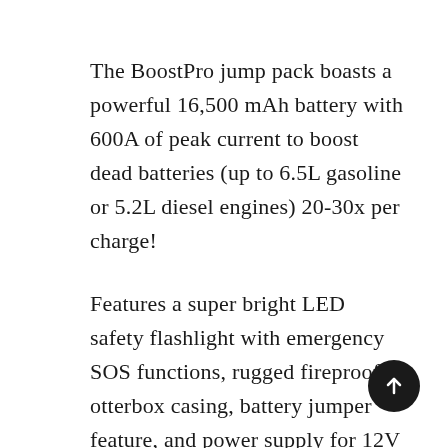The BoostPro jump pack boasts a powerful 16,500 mAh battery with 600A of peak current to boost dead batteries (up to 6.5L gasoline or 5.2L diesel engines) 20-30x per charge!
Features a super bright LED safety flashlight with emergency SOS functions, rugged fireproof otterbox casing, battery jumper feature, and power supply for 12V & USB devices.
Built to last from top-notch performance components featuring a crisp LCD battery life display screen, with dual USB ports for on-the-